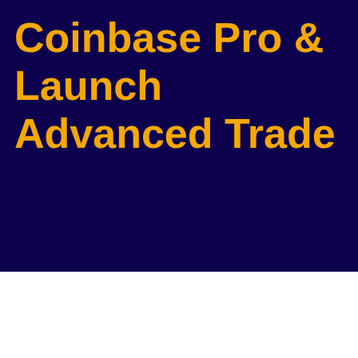Coinbase Pro & Launch Advanced Trade